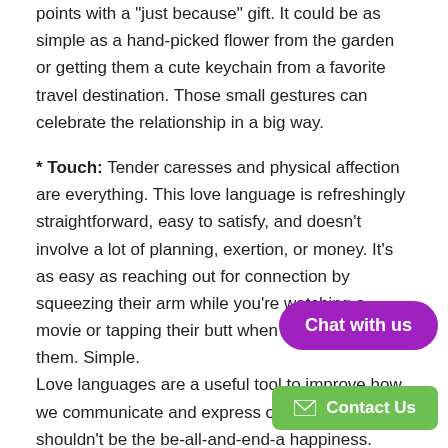points with a "just because" gift. It could be as simple as a hand-picked flower from the garden or getting them a cute keychain from a favorite travel destination. Those small gestures can celebrate the relationship in a big way.
* Touch: Tender caresses and physical affection are everything. This love language is refreshingly straightforward, easy to satisfy, and doesn't involve a lot of planning, exertion, or money. It's as easy as reaching out for connection by squeezing their arm while you're watching a movie or tapping their butt when you walk by them. Simple.
Love languages are a useful tool to improve how we communicate and express ourselves t they shouldn't be the be-all-and-end-a happiness. Instead, it should function